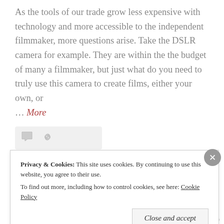As the tools of our trade grow less expensive with technology and more accessible to the independent filmmaker, more questions arise. Take the DSLR camera for example. They are within the the budget of many a filmmaker, but just what do you need to truly use this camera to create films, either your own, or ... More
[Figure (other): Icon bar with comment and link icons on a light grey background]
St. Louis International Film Festival: Closing Night Party
Privacy & Cookies: This site uses cookies. By continuing to use this website, you agree to their use. To find out more, including how to control cookies, see here: Cookie Policy
Close and accept